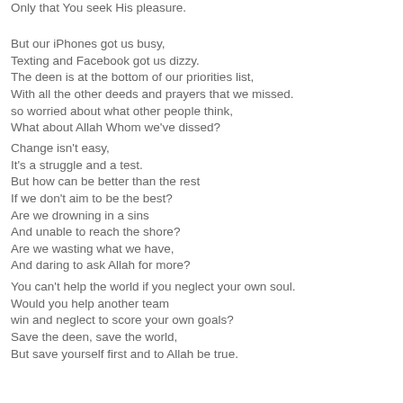Only that You seek His pleasure.
But our iPhones got us busy,
Texting and Facebook got us dizzy.
The deen is at the bottom of our priorities list,
With all the other deeds and prayers that we missed.
so worried about what other people think,
What about Allah Whom we've dissed?
Change isn't easy,
It's a struggle and a test.
But how can be better than the rest
If we don't aim to be the best?
Are we drowning in a sins
And unable to reach the shore?
Are we wasting what we have,
And daring to ask Allah for more?
You can't help the world if you neglect your own soul.
Would you help another team
win and neglect to score your own goals?
Save the deen, save the world,
But save yourself first and to Allah be true.